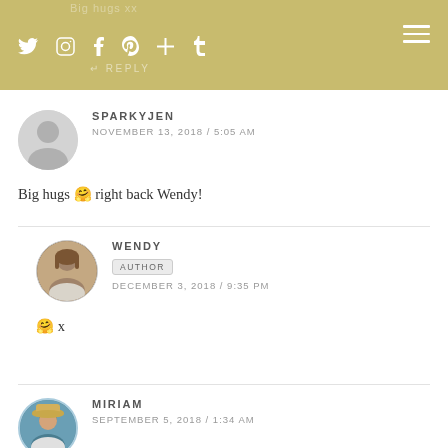Social icons navigation bar with hamburger menu
↵ REPLY
SPARKYJEN
NOVEMBER 13, 2018 / 5:05 AM
Big hugs 🤗 right back Wendy!
WENDY
AUTHOR
DECEMBER 3, 2018 / 9:35 PM
🤗 x
MIRIAM
SEPTEMBER 5, 2018 / 1:34 AM